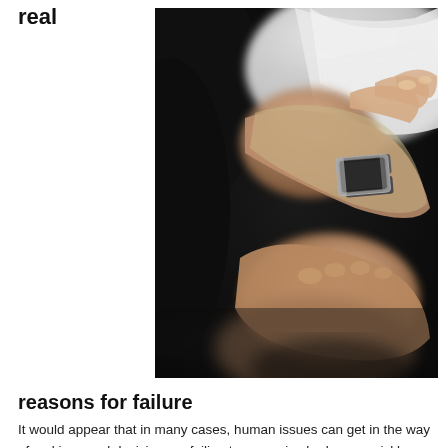real
[Figure (photo): Close-up photograph of a man in a dark suit and white shirt checking his wristwatch, a silver bracelet-style watch on his wrist, hands visible against a dark background.]
reasons for failure
It would appear that in many cases, human issues can get in the way of making good decisions or failing to recognise bad ones quickly enough in a governance team.  The reports highlighted in this article, as well as Ken's experience reveal that good governance can be hijacked by conflicting motives, team dysfunction, accountability issues, poor leadership and